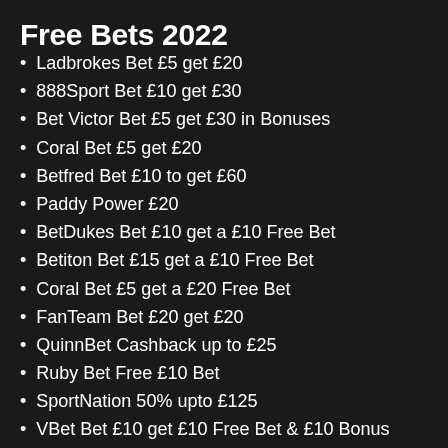Free Bets 2022
Ladbrokes Bet £5 get £20
888Sport Bet £10 get £30
Bet Victor Bet £5 get £30 in Bonuses
Coral Bet £5 get £20
Betfred Bet £10 to get £60
Paddy Power £20
BetDukes Bet £10 get a £10 Free Bet
Betiton Bet £15 get a £10 Free Bet
Coral Bet £5 get a £20 Free Bet
FanTeam Bet £20 get £20
QuinnBet Cashback up to £25
Ruby Bet Free £10 Bet
SportNation 50% upto £125
VBet Bet £10 get £10 Free Bet & £10 Bonus
William Hill Bet £10 get £30 in Free Bets
Recent Posts